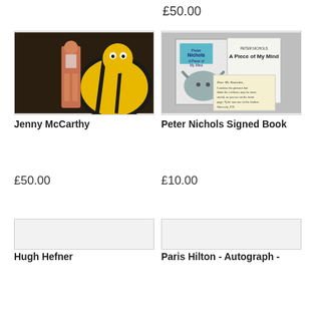£50.00
[Figure (photo): Jenny McCarthy photo posing in front of cartoon bee mascot costume]
Jenny McCarthy
£50.00
[Figure (photo): Peter Nichols signed book - A Piece of My Mind, showing book cover with ram/sheep image and handwritten letter]
Peter Nichols Signed Book
£10.00
[Figure (photo): Hugh Hefner item placeholder image]
Hugh Hefner
[Figure (photo): Paris Hilton autograph item placeholder image]
Paris Hilton - Autograph -